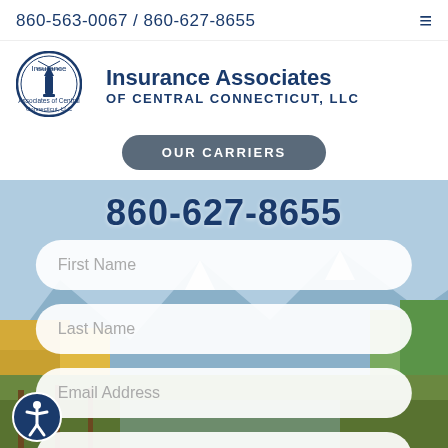860-563-0067 / 860-627-8655
[Figure (logo): Insurance Associates of Central Connecticut LLC circular logo with lighthouse]
Insurance Associates OF CENTRAL CONNECTICUT, LLC
OUR CARRIERS
[Figure (photo): Autumn mountain landscape background with overlaid phone number 860-627-8655 and contact form fields: First Name, Last Name, Email Address, Phone Number]
860-627-8655
First Name
Last Name
Email Address
Phone Number